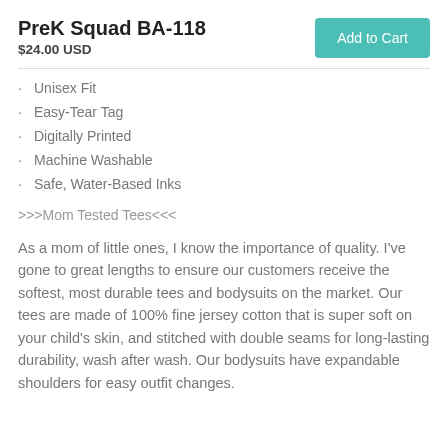PreK Squad BA-118
$24.00 USD
Unisex Fit
Easy-Tear Tag
Digitally Printed
Machine Washable
Safe, Water-Based Inks
>>>Mom Tested Tees<<<
As a mom of little ones, I know the importance of quality. I've gone to great lengths to ensure our customers receive the softest, most durable tees and bodysuits on the market. Our tees are made of 100% fine jersey cotton that is super soft on your child's skin, and stitched with double seams for long-lasting durability, wash after wash. Our bodysuits have expandable shoulders for easy outfit changes.